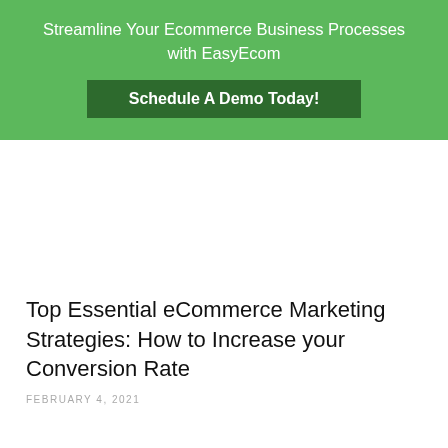Streamline Your Ecommerce Business Processes with EasyEcom
[Figure (other): Green call-to-action button reading 'Schedule A Demo Today!']
Top Essential eCommerce Marketing Strategies: How to Increase your Conversion Rate
FEBRUARY 4, 2021